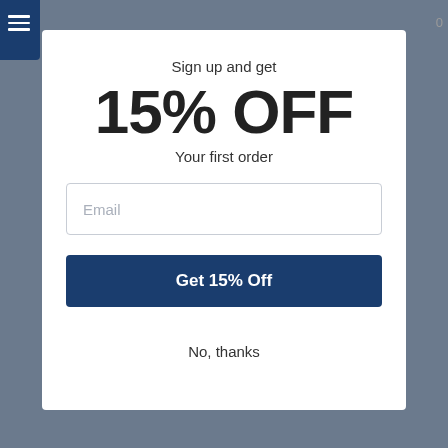Sign up and get
15% OFF
Your first order
Email
Get 15% Off
No, thanks